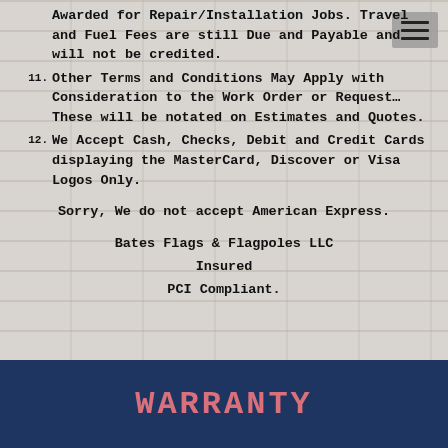Awarded for Repair/Installation Jobs. Travel and Fuel Fees are still Due and Payable and will not be credited.
11. Other Terms and Conditions May Apply with Consideration to the Work Order or Request...These will be notated on Estimates and Quotes.
12. We Accept Cash, Checks, Debit and Credit Cards displaying the MasterCard, Discover or Visa Logos Only.
Sorry, We do not accept American Express.
Bates Flags & Flagpoles LLC
Insured
PCI Compliant.
WARRANTY